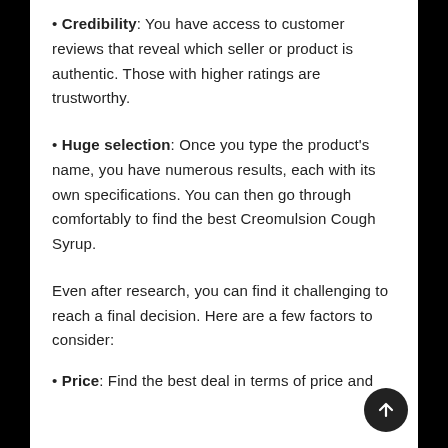Credibility: You have access to customer reviews that reveal which seller or product is authentic. Those with higher ratings are trustworthy.
Huge selection: Once you type the product's name, you have numerous results, each with its own specifications. You can then go through comfortably to find the best Creomulsion Cough Syrup.
Even after research, you can find it challenging to reach a final decision. Here are a few factors to consider:
Price: Find the best deal in terms of price and